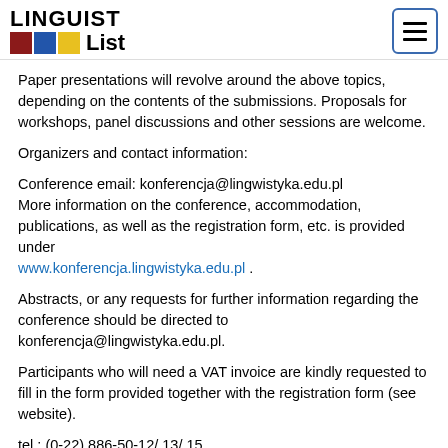LINGUIST List
Paper presentations will revolve around the above topics, depending on the contents of the submissions. Proposals for workshops, panel discussions and other sessions are welcome.
Organizers and contact information:
Conference email: konferencja@lingwistyka.edu.pl
More information on the conference, accommodation, publications, as well as the registration form, etc. is provided under www.konferencja.lingwistyka.edu.pl .
Abstracts, or any requests for further information regarding the conference should be directed to konferencja@lingwistyka.edu.pl.
Participants who will need a VAT invoice are kindly requested to fill in the form provided together with the registration form (see website).
tel.: (0-22) 886-50-12/ 13/ 15